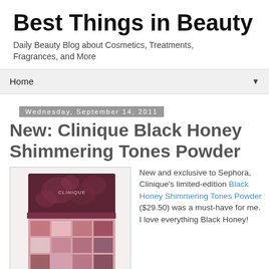Best Things in Beauty
Daily Beauty Blog about Cosmetics, Treatments, Fragrances, and More
Home ▼
Wednesday, September 14, 2011
New: Clinique Black Honey Shimmering Tones Powder
[Figure (photo): Clinique Black Honey Shimmering Tones Powder compact product photo showing a dark floral-patterned lid and a grid of shimmer powder squares in rose, pink, and brown tones]
New and exclusive to Sephora, Clinique's limited-edition Black Honey Shimmering Tones Powder ($29.50) was a must-have for me. I love everything Black Honey!
Long a cult favorite, Black...